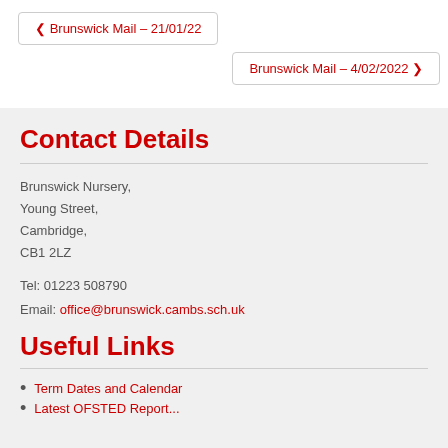❮ Brunswick Mail – 21/01/22
Brunswick Mail – 4/02/2022 ❯
Contact Details
Brunswick Nursery,
Young Street,
Cambridge,
CB1 2LZ
Tel: 01223 508790
Email: office@brunswick.cambs.sch.uk
Useful Links
Term Dates and Calendar
Latest OFSTED Report...